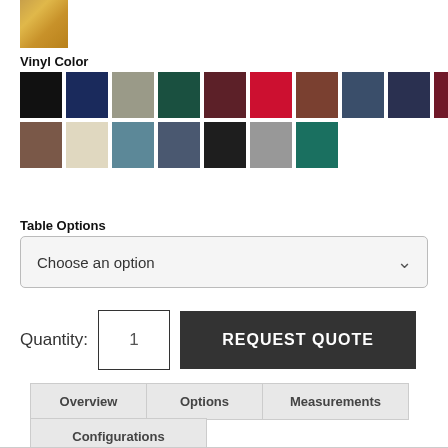[Figure (illustration): Wood grain texture swatch thumbnail]
Vinyl Color
[Figure (illustration): Grid of vinyl color swatches: black, navy, gray, dark green, dark red/maroon, red, brown-red, steel blue, dark navy, dark maroon (row 1); brown, cream/beige, slate blue, slate gray, black, light gray, teal (row 2)]
Table Options
Choose an option
Quantity: 1
REQUEST QUOTE
Overview | Options | Measurements | Configurations